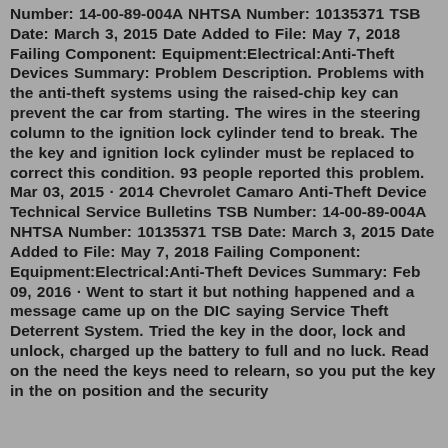Number: 14-00-89-004A NHTSA Number: 10135371 TSB Date: March 3, 2015 Date Added to File: May 7, 2018 Failing Component: Equipment:Electrical:Anti-Theft Devices Summary: Problem Description. Problems with the anti-theft systems using the raised-chip key can prevent the car from starting. The wires in the steering column to the ignition lock cylinder tend to break. The the key and ignition lock cylinder must be replaced to correct this condition. 93 people reported this problem. Mar 03, 2015 · 2014 Chevrolet Camaro Anti-Theft Device Technical Service Bulletins TSB Number: 14-00-89-004A NHTSA Number: 10135371 TSB Date: March 3, 2015 Date Added to File: May 7, 2018 Failing Component: Equipment:Electrical:Anti-Theft Devices Summary: Feb 09, 2016 · Went to start it but nothing happened and a message came up on the DIC saying Service Theft Deterrent System. Tried the key in the door, lock and unlock, charged up the battery to full and no luck. Read on the need the keys need to relearn, so you put the key in the on position and the security